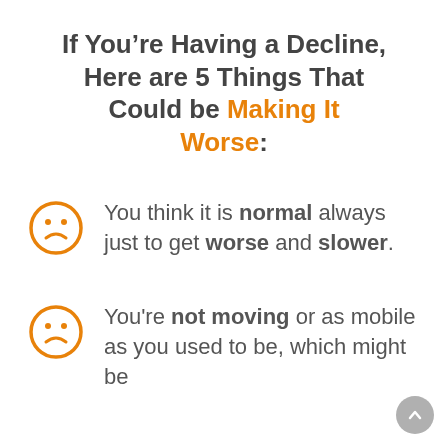If You're Having a Decline, Here are 5 Things That Could be Making It Worse:
You think it is normal always just to get worse and slower.
You're not moving or as mobile as you used to be, which might be